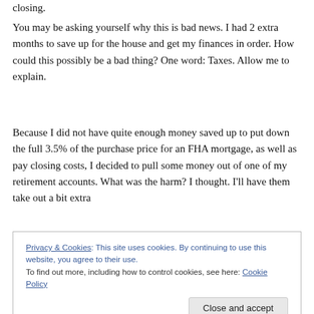closing.
You may be asking yourself why this is bad news. I had 2 extra months to save up for the house and get my finances in order. How could this possibly be a bad thing? One word: Taxes. Allow me to explain.
Because I did not have quite enough money saved up to put down the full 3.5% of the purchase price for an FHA mortgage, as well as pay closing costs, I decided to pull some money out of one of my retirement accounts. What was the harm? I thought. I'll have them take out a bit extra
Privacy & Cookies: This site uses cookies. By continuing to use this website, you agree to their use.
To find out more, including how to control cookies, see here: Cookie Policy
Close and accept